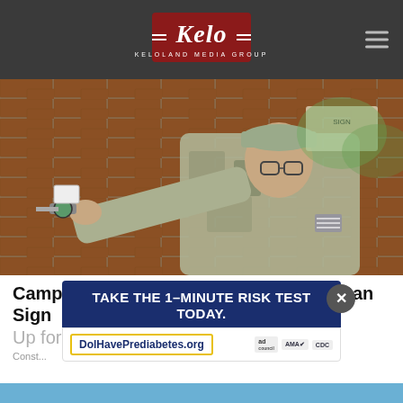[Figure (logo): KELOLAND Media Group logo on dark gray header bar with hamburger menu icon]
[Figure (photo): Military person in camouflage uniform and cap working on plumbing or water connection on brick wall]
Camp Lejeune Residents (1953 -1987) Can Sign Up for Compensation for Exposure
Const...
[Figure (screenshot): Advertisement overlay: TAKE THE 1-MINUTE RISK TEST TODAY. DolHavePrediabetes.org with ad council, AMA, and CDC logos. Close button (x) visible.]
[Figure (photo): Partial blue image visible at bottom of page]